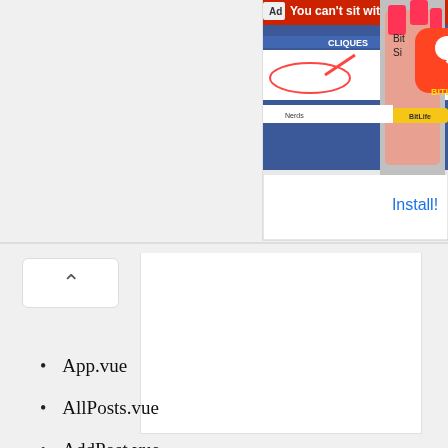[Figure (screenshot): Advertisement banner at top showing a mobile game ad with 'You can't sit with us' text, BitLife app icon, and Install button]
App.vue
AllPosts.vue
AddPost.vue
EditPost.vue